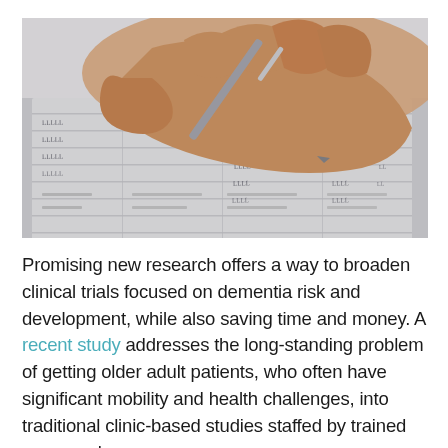[Figure (photo): Close-up photo of a hand holding a pen, writing on a form or document with grid lines and handwritten text visible]
Promising new research offers a way to broaden clinical trials focused on dementia risk and development, while also saving time and money. A recent study addresses the long-standing problem of getting older adult patients, who often have significant mobility and health challenges, into traditional clinic-based studies staffed by trained personnel.